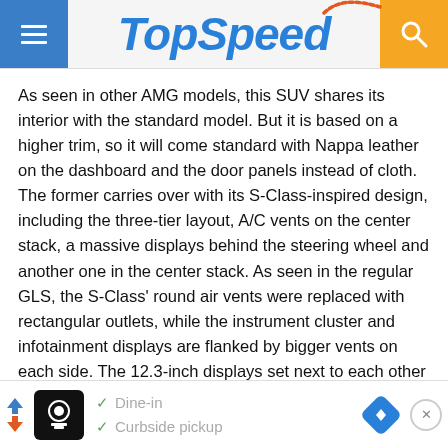TopSpeed
As seen in other AMG models, this SUV shares its interior with the standard model. But it is based on a higher trim, so it will come standard with Nappa leather on the dashboard and the door panels instead of cloth. The former carries over with its S-Class-inspired design, including the three-tier layout, A/C vents on the center stack, a massive displays behind the steering wheel and another one in the center stack. As seen in the regular GLS, the S-Class’ round air vents were replaced with rectangular outlets, while the instrument cluster and infotainment displays are flanked by bigger vents on each side. The 12.3-inch displays set next to each other come standard.
Dine-in / Curbside pickup